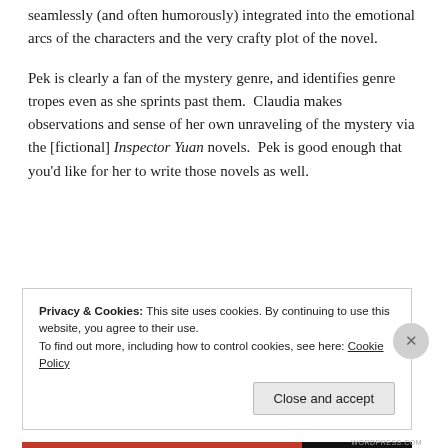seamlessly (and often humorously) integrated into the emotional arcs of the characters and the very crafty plot of the novel.
Pek is clearly a fan of the mystery genre, and identifies genre tropes even as she sprints past them. Claudia makes observations and sense of her own unraveling of the mystery via the [fictional] Inspector Yuan novels. Pek is good enough that you'd like for her to write those novels as well.
Privacy & Cookies: This site uses cookies. By continuing to use this website, you agree to their use.
To find out more, including how to control cookies, see here: Cookie Policy

Close and accept